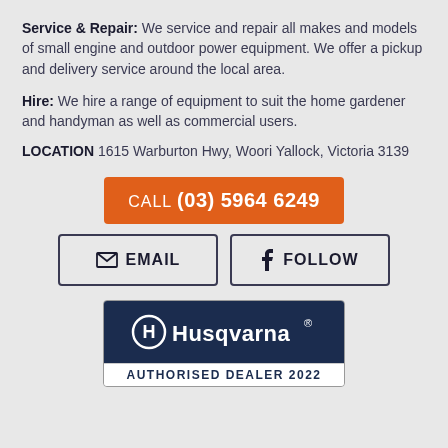Service & Repair: We service and repair all makes and models of small engine and outdoor power equipment. We offer a pickup and delivery service around the local area.
Hire: We hire a range of equipment to suit the home gardener and handyman as well as commercial users.
LOCATION 1615 Warburton Hwy, Woori Yallock, Victoria 3139
[Figure (infographic): Orange call-to-action button with text CALL (03) 5964 6249]
[Figure (infographic): Two buttons side by side: EMAIL button with envelope icon, and FOLLOW button with Facebook f icon]
[Figure (logo): Husqvarna Authorised Dealer 2022 badge - dark navy background with Husqvarna logo and crown symbol, white text below says AUTHORISED DEALER 2022]